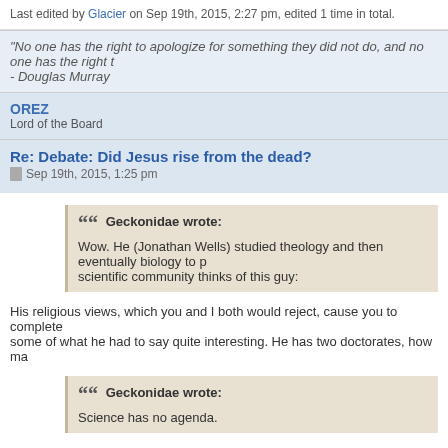Last edited by Glacier on Sep 19th, 2015, 2:27 pm, edited 1 time in total.
"No one has the right to apologize for something they did not do, and no one has the right t… - Douglas Murray
OREZ
Lord of the Board
Re: Debate: Did Jesus rise from the dead?
Sep 19th, 2015, 1:25 pm
Geckonidae wrote:
Wow. He (Jonathan Wells) studied theology and then eventually biology to p… scientific community thinks of this guy:
His religious views, which you and I both would reject, cause you to complete… some of what he had to say quite interesting. He has two doctorates, how ma…
Geckonidae wrote:
Science has no agenda.